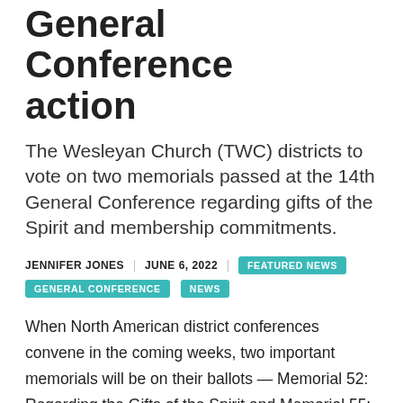General Conference action
The Wesleyan Church (TWC) districts to vote on two memorials passed at the 14th General Conference regarding gifts of the Spirit and membership commitments.
JENNIFER JONES | JUNE 6, 2022 | FEATURED NEWS GENERAL CONFERENCE NEWS
When North American district conferences convene in the coming weeks, two important memorials will be on their ballots — Memorial 52: Regarding the Gifts of the Spirit and Memorial 55: